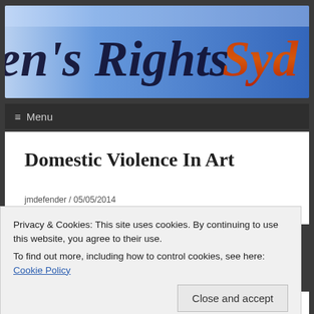[Figure (screenshot): Website banner header showing "en's Rights Syd" (partial text visible) in dark blue bold italic font on a blue gradient background, with partial red-orange stylized text also visible.]
≡ Menu
Domestic Violence In Art
jmdefender / 05/05/2014
Privacy & Cookies: This site uses cookies. By continuing to use this website, you agree to their use. To find out more, including how to control cookies, see here: Cookie Policy
Close and accept
Cockatoo Island was the perfect setting for this